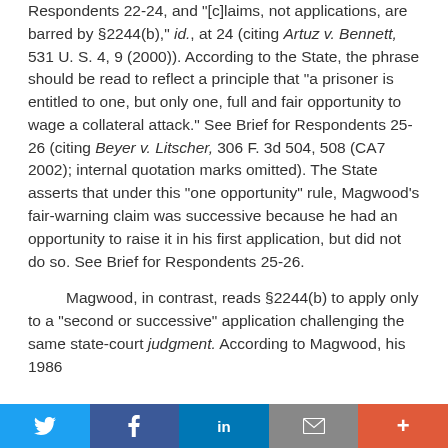Respondents 22-24, and "[c]laims, not applications, are barred by §2244(b)," id., at 24 (citing Artuz v. Bennett, 531 U. S. 4, 9 (2000)). According to the State, the phrase should be read to reflect a principle that "a prisoner is entitled to one, but only one, full and fair opportunity to wage a collateral attack." See Brief for Respondents 25-26 (citing Beyer v. Litscher, 306 F. 3d 504, 508 (CA7 2002); internal quotation marks omitted). The State asserts that under this "one opportunity" rule, Magwood's fair-warning claim was successive because he had an opportunity to raise it in his first application, but did not do so. See Brief for Respondents 25-26.
Magwood, in contrast, reads §2244(b) to apply only to a "second or successive" application challenging the same state-court judgment. According to Magwood, his 1986
Twitter | Facebook | in | Email | +